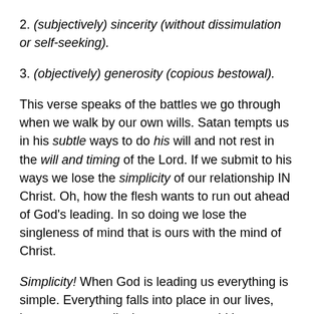2. (subjectively) sincerity (without dissimulation or self-seeking).
3. (objectively) generosity (copious bestowal).
This verse speaks of the battles we go through when we walk by our own wills. Satan tempts us in his subtle ways to do his will and not rest in the will and timing of the Lord. If we submit to his ways we lose the simplicity of our relationship IN Christ. Oh, how the flesh wants to run out ahead of God’s leading. In so doing we lose the singleness of mind that is ours with the mind of Christ.
Simplicity! When God is leading us everything is simple. Everything falls into place in our lives, but not necessarily the way we would have planned it according to our fleshly thinking, but according to His wonderful foreknowledge